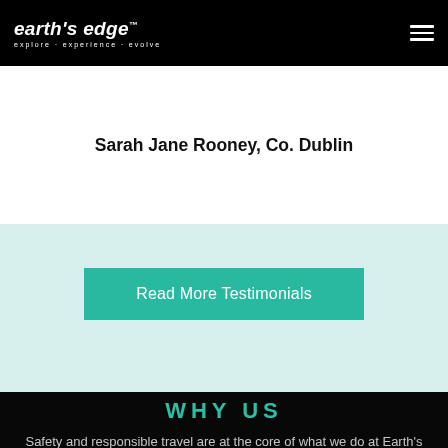earth's edge™ explore · experience · evolve
Sarah Jane Rooney, Co. Dublin
Read More Testimonials
WHY US
Safety and responsible travel are at the core of what we do at Earth's Edge. The safety of our clients, welfare of our staff and the protection of the environment